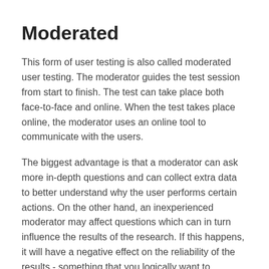Moderated
This form of user testing is also called moderated user testing. The moderator guides the test session from start to finish. The test can take place both face-to-face and online. When the test takes place online, the moderator uses an online tool to communicate with the users.
The biggest advantage is that a moderator can ask more in-depth questions and can collect extra data to better understand why the user performs certain actions. On the other hand, an inexperienced moderator may affect questions which can in turn influence the results of the research. If this happens, it will have a negative effect on the reliability of the results - something that you logically want to prevent.